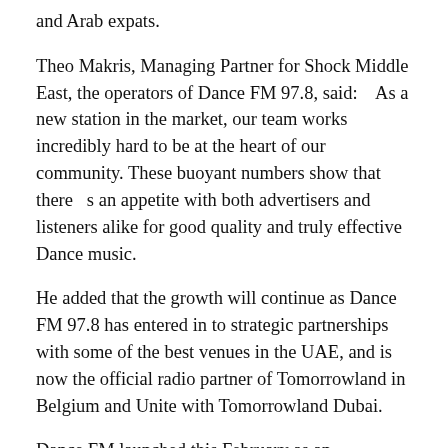and Arab expats.
Theo Makris, Managing Partner for Shock Middle East, the operators of Dance FM 97.8, said:    As a new station in the market, our team works incredibly hard to be at the heart of our community. These buoyant numbers show that there   s an appetite with both advertisers and listeners alike for good quality and truly effective Dance music.
He added that the growth will continue as Dance FM 97.8 has entered in to strategic partnerships with some of the best venues in the UAE, and is now the official radio partner of Tomorrowland in Belgium and Unite with Tomorrowland Dubai.
Dance FM launched this February as an exclusively dance music radio station in the UAE. The station plays accessible dance-influenced music 24 hours a